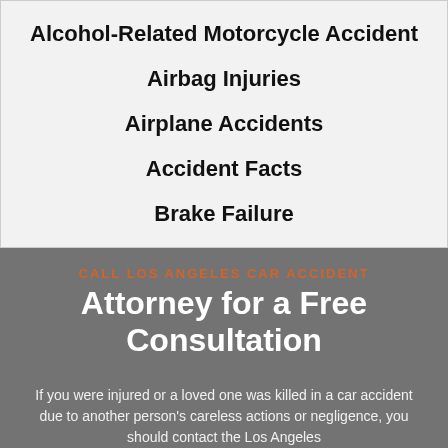Alcohol-Related Motorcycle Accident
Airbag Injuries
Airplane Accidents
Accident Facts
Brake Failure
CALL LOS ANGELES CAR ACCIDENT Attorney for a Free Consultation
If you were injured or a loved one was killed in a car accident due to another person's careless actions or negligence, you should contact the Los Angeles